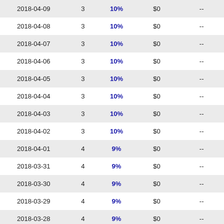| 2018-04-09 | 3 | 10% | $0 | -- |
| 2018-04-08 | 3 | 10% | $0 | -- |
| 2018-04-07 | 3 | 10% | $0 | -- |
| 2018-04-06 | 3 | 10% | $0 | -- |
| 2018-04-05 | 3 | 10% | $0 | -- |
| 2018-04-04 | 3 | 10% | $0 | -- |
| 2018-04-03 | 3 | 10% | $0 | -- |
| 2018-04-02 | 3 | 10% | $0 | -- |
| 2018-04-01 | 4 | 9% | $0 | -- |
| 2018-03-31 | 4 | 9% | $0 | -- |
| 2018-03-30 | 4 | 9% | $0 | -- |
| 2018-03-29 | 4 | 9% | $0 | -- |
| 2018-03-28 | 4 | 9% | $0 | -- |
| 2018-03-27 | 4 | 9% | $0 | -- |
| 2018-03-26 | 4 | 9% | $0 | -- |
| 2018-03-25 | 4 | 9% | $0 | -- |